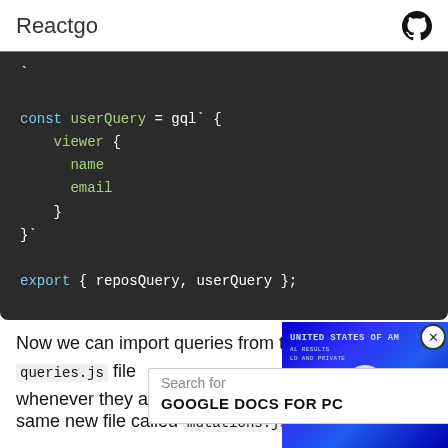Reactgo
[Figure (screenshot): Dark code editor screenshot showing GraphQL query code: const userQuery = gql` { viewer { name email } }` and export { reposQuery, userQuery };]
Now we can import queries from the queries.js file whenever they are required
[Figure (screenshot): Ad overlay showing search bar with text 'Search for' and 'GOOGLE DOCS FOR PC' suggestion]
[Figure (screenshot): Video overlay with blue tinted currency image and play button, with close button in corner]
same new file called mutations.js